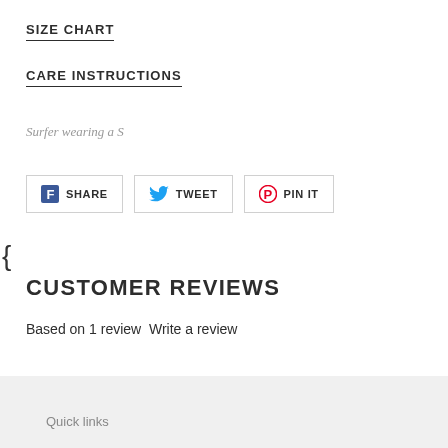SIZE CHART
CARE INSTRUCTIONS
Surfer wearing a S
[Figure (infographic): Social sharing buttons: Facebook SHARE, Twitter TWEET, Pinterest PIN IT]
{
CUSTOMER REVIEWS
Based on 1 review Write a review
Quick links